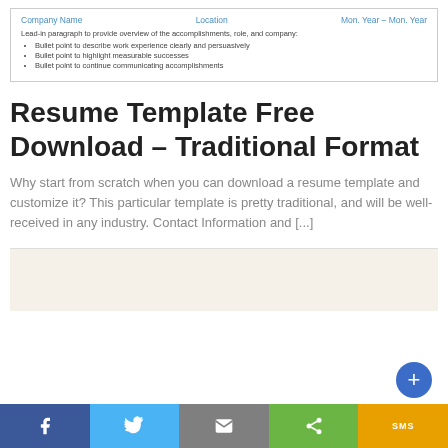[Figure (screenshot): Resume template snippet showing Company Name, Location, Mon. Year – Mon. Year header row in blue, followed by a lead-in paragraph and three bullet points about work experience accomplishments.]
Resume Template Free Download – Traditional Format
Why start from scratch when you can download a resume template and customize it? This particular template is pretty traditional, and will be well-received in any industry. Contact Information and [...]
[Figure (other): Beige/cream colored content area placeholder below divider line]
[Figure (infographic): Social share bar at bottom with Facebook (blue), Twitter (light blue), Email (gray), Share (green), and SMS (orange/yellow) buttons]